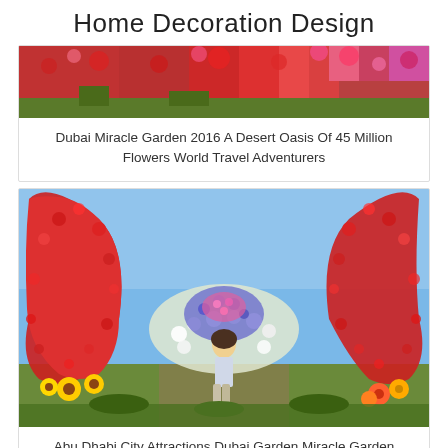Home Decoration Design
[Figure (photo): Wide shot of a colorful flower garden with dense red, pink and multicolored flowers filling the frame — Dubai Miracle Garden]
Dubai Miracle Garden 2016 A Desert Oasis Of 45 Million Flowers World Travel Adventurers
[Figure (photo): A woman standing inside a large heart-shaped floral arch made of red, white, and purple flowers at Dubai Miracle Garden, with more heart-shaped arches and colorful flowers in the background]
Abu Dhabi City Attractions Dubai Garden Miracle Garden Botanical Gardens Near Me